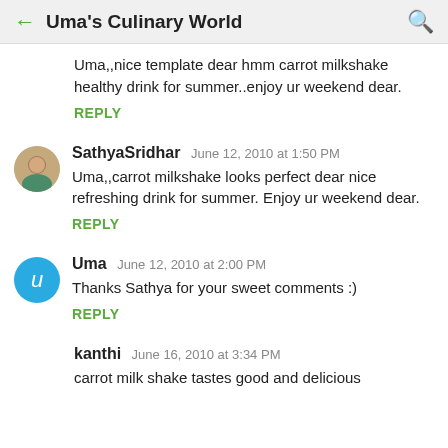← Uma's Culinary World 🔍
Uma,,nice template dear hmm carrot milkshake healthy drink for summer..enjoy ur weekend dear.
REPLY
SathyaSridhar  June 12, 2010 at 1:50 PM
Uma,,carrot milkshake looks perfect dear nice refreshing drink for summer. Enjoy ur weekend dear.
REPLY
Uma  June 12, 2010 at 2:00 PM
Thanks Sathya for your sweet comments :)
REPLY
kanthi  June 16, 2010 at 3:34 PM
carrot milk shake tastes good and delicious